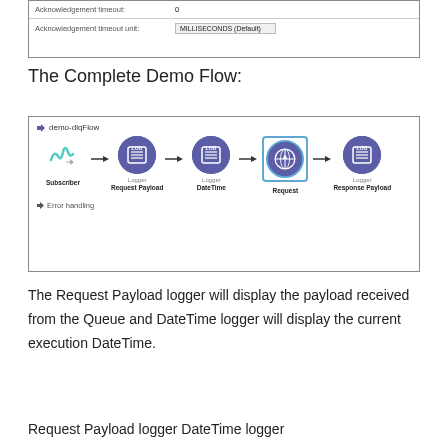[Figure (screenshot): Screenshot of form fields showing 'Acknowledgement timeout: 0' and 'Acknowledgement timeout unit: MILLISECONDS (Default)']
The Complete Demo Flow:
[Figure (flowchart): Demo flow diagram labeled 'demo-dlqFlow' showing nodes: Subscriber → Logger Request Payload → Logger DateTime → Request (selected) → Logger Response Payload, with Error handling section at bottom]
The Request Payload logger will display the payload received from the Queue and DateTime logger will display the current execution DateTime.
Request Payload logger DateTime logger